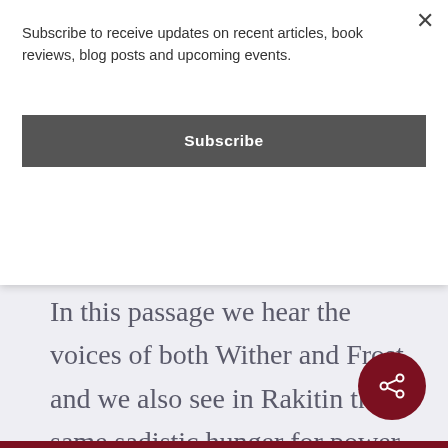Subscribe to receive updates on recent articles, book reviews, blog posts and upcoming events.
Subscribe
In this passage we hear the voices of both Wither and Frost, and we also see in Rakitin the same sadistic hunger for power over others as was evident in the Fairy. And it is the rejection of any transcendent moral principles that opens the door to this hunger and feeds it. But this denial of moral principles is the logically